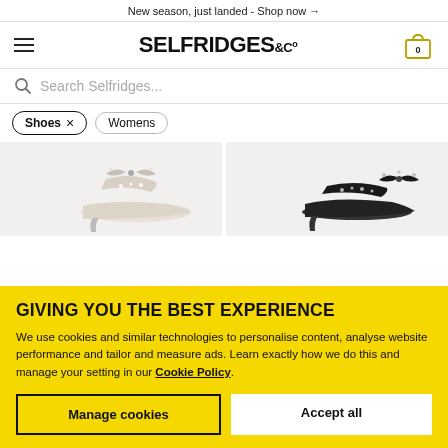New season, just landed - Shop now →
[Figure (screenshot): Selfridges & Co navigation bar with hamburger menu, logo, and cart icon showing 0 items]
Search Selfridges...
Shoes ×   Womens
[Figure (photo): Two luxury high-heel shoes with crystal embellishments. Left: cream/nude satin stiletto with crystal bow and straps. Right: black satin mule with crystal bow detail.]
GIVING YOU THE BEST EXPERIENCE
We use cookies and similar technologies to personalise content, analyse website performance and tailor and measure ads. Learn exactly how we do this and manage your setting in our Cookie Policy.
Manage cookies
Accept all